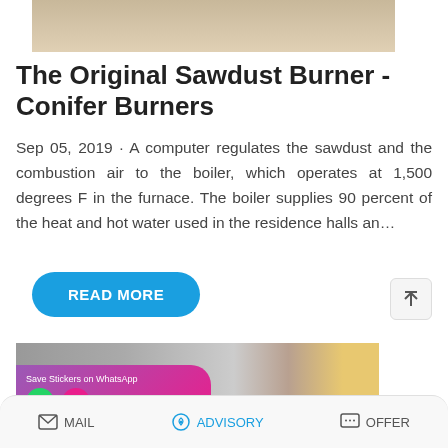[Figure (photo): Top portion of a photo showing a floor/ground surface, partially cropped]
The Original Sawdust Burner - Conifer Burners
Sep 05, 2019 · A computer regulates the sawdust and the combustion air to the boiler, which operates at 1,500 degrees F in the furnace. The boiler supplies 90 percent of the heat and hot water used in the residence halls an…
[Figure (photo): Industrial interior photo showing ceiling with pipes and ducts; partially overlaid by a WhatsApp sticker promotion banner with green phone icon and pink emoji icon]
MAIL   ADVISORY   OFFER